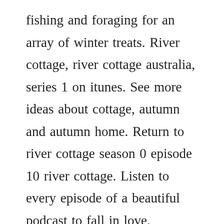fishing and foraging for an array of winter treats. River cottage, river cottage australia, series 1 on itunes. See more ideas about cottage, autumn and autumn home. Return to river cottage season 0 episode 10 river cottage. Listen to every episode of a beautiful podcast to fall in love. Torrential rain washes out hughs entire hay harvest and his polytunnel full of tomatoes is beset. Mar 19, 2018 fifteen years ago, english celebrity chef, television personality, food writer and campaigner on food and environmental issues, hugh fearnleywhittingstall embarked on an